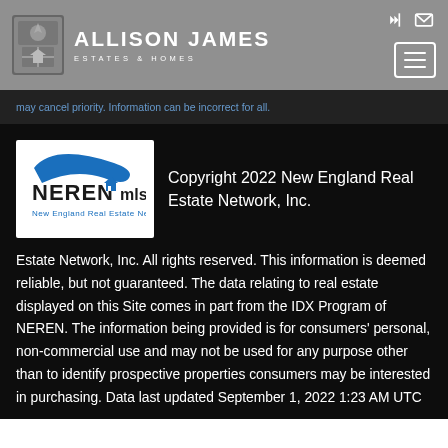[Figure (logo): Allison James Estates & Homes logo with crest icon and white text on grey background]
may cancel priority. Information can be incorrect for all.
[Figure (logo): NEREN MLS - New England Real Estate Network logo]
Copyright 2022 New England Real Estate Network, Inc. All rights reserved. This information is deemed reliable, but not guaranteed. The data relating to real estate displayed on this Site comes in part from the IDX Program of NEREN. The information being provided is for consumers' personal, non-commercial use and may not be used for any purpose other than to identify prospective properties consumers may be interested in purchasing. Data last updated September 1, 2022 1:23 AM UTC